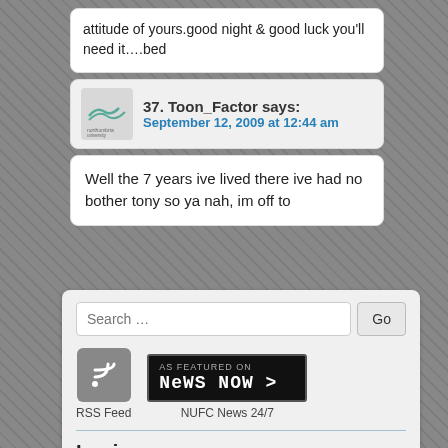attitude of yours.good night & good luck you'll need it….bed
37. Toon_Factor says:
September 12, 2009 at 12:44 am
Well the 7 years ive lived there ive had no bother tony so ya nah, im off to
Search …
[Figure (logo): RSS Feed icon - grey rounded square with RSS symbol]
RSS Feed
[Figure (logo): AS FEATURED ON News Now badge - black background with white pixel font text]
NUFC News 24/7
Login
Username